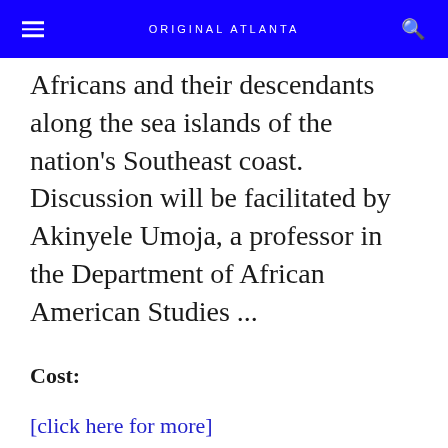ORIGINAL ATLANTA
Africans and their descendants along the sea islands of the nation's Southeast coast. Discussion will be facilitated by Akinyele Umoja, a professor in the Department of African American Studies ...
Cost:
[click here for more]